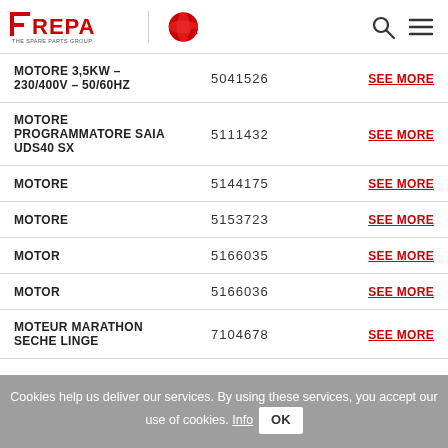REPA - THE SPARE PARTS GROUP | LF Logo | Search | Menu
| Name | Code | Link |
| --- | --- | --- |
| MOTORE 3,5KW - 230/400V - 50/60HZ | 5041526 | SEE MORE |
| MOTORE PROGRAMMATORE SAIA UDS40 SX | 5111432 | SEE MORE |
| MOTORE | 5144175 | SEE MORE |
| MOTORE | 5153723 | SEE MORE |
| MOTOR | 5166035 | SEE MORE |
| MOTOR | 5166036 | SEE MORE |
| MOTEUR MARATHON SECHE LINGE | 7104678 | SEE MORE |
Cookies help us deliver our services. By using these services, you accept our use of cookies. Info OK